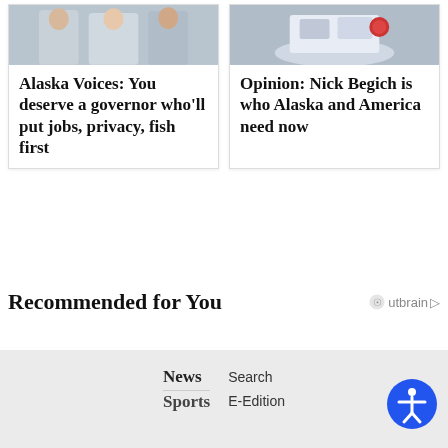Alaska Voices: You deserve a governor who'll put jobs, privacy, fish first
Opinion: Nick Begich is who Alaska and America need now
Recommended for You
Outbrain
News
Sports
Search
E-Edition